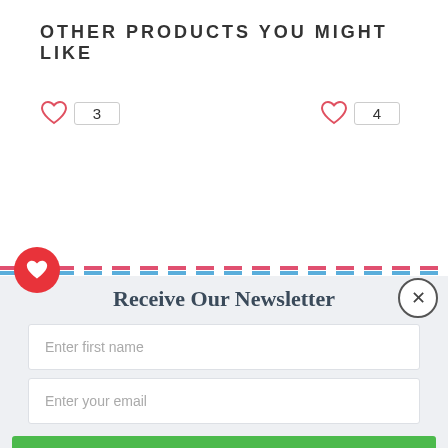OTHER PRODUCTS YOU MIGHT LIKE
[Figure (infographic): Two heart icons with badge numbers: a red heart outline with badge '3' on the left, and a red heart outline with badge '4' on the right]
[Figure (infographic): Red circular heart button overlapping a dashed border divider (pink and blue dashed lines)]
Receive Our Newsletter
Enter first name
Enter your email
Subscribe